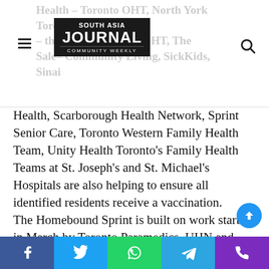South Asia Journal — Community Weekly
Health, Scarborough Health Network, Sprint Senior Care, Toronto Western Family Health Team, Unity Health Toronto's Family Health Teams at St. Joseph's and St. Michael's Hospitals are also helping to ensure all identified residents receive a vaccination. The Homebound Sprint is built on work started in March by Toronto Paramedics, UHN and HCCSS to vaccinate homebound Torontonians and ensure no one who wishes to be vaccinated is left behind. Getting both doses of COVID-19 vaccine is the best defense against the virus, including the Delta variant. The City continues to work with all Team Toronto partners to make getting vaccinated against COVID-19 as easy as
Facebook | Twitter | WhatsApp | Telegram | Phone